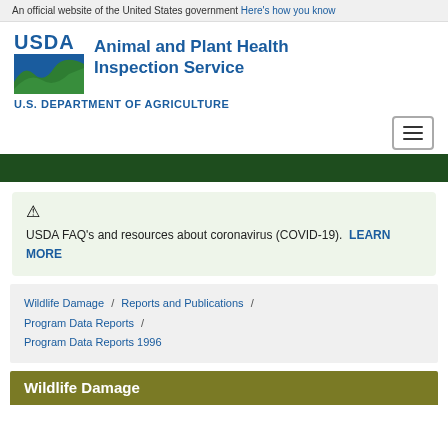An official website of the United States government Here's how you know
[Figure (logo): USDA Animal and Plant Health Inspection Service logo with green wave graphic]
Animal and Plant Health Inspection Service
U.S. DEPARTMENT OF AGRICULTURE
USDA FAQ's and resources about coronavirus (COVID-19). LEARN MORE
Wildlife Damage / Reports and Publications / Program Data Reports / Program Data Reports 1996
Wildlife Damage